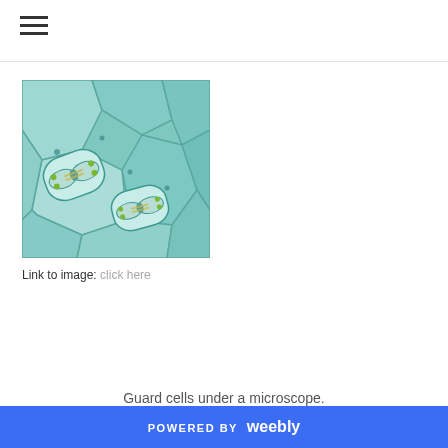[Figure (photo): Microscope photograph of guard cells in a plant leaf, showing two stomata with bean-shaped guard cells visible against a teal/green-tinted background of epidermal cells with irregular polygon shapes.]
Link to image: click here
Guard cells under a microscope.
POWERED BY weebly